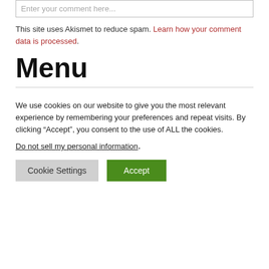Enter your comment here...
This site uses Akismet to reduce spam. Learn how your comment data is processed.
Menu
We use cookies on our website to give you the most relevant experience by remembering your preferences and repeat visits. By clicking “Accept”, you consent to the use of ALL the cookies.
Do not sell my personal information.
Cookie Settings  Accept